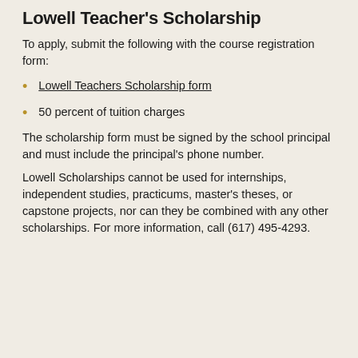Lowell Teacher's Scholarship
To apply, submit the following with the course registration form:
Lowell Teachers Scholarship form
50 percent of tuition charges
The scholarship form must be signed by the school principal and must include the principal's phone number.
Lowell Scholarships cannot be used for internships, independent studies, practicums, master's theses, or capstone projects, nor can they be combined with any other scholarships. For more information, call (617) 495-4293.